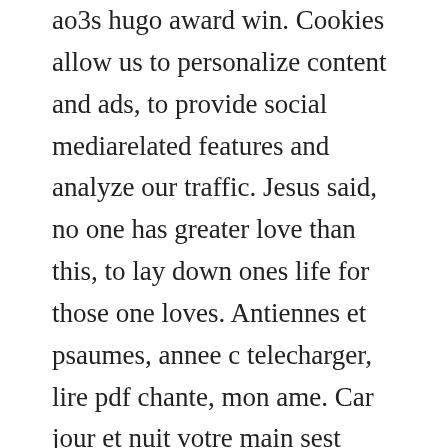ao3s hugo award win. Cookies allow us to personalize content and ads, to provide social mediarelated features and analyze our traffic. Jesus said, no one has greater love than this, to lay down ones life for those one loves. Antiennes et psaumes, annee c telecharger, lire pdf chante, mon ame. Car jour et nuit votre main sest appesantie sur moi. Our goal is to help musicians like you to learn to play the music they love. Download free ebooks of classic literature, books and novels at planet. Egalement disponible en telechargement peer to peer litterature livre livres audio audios